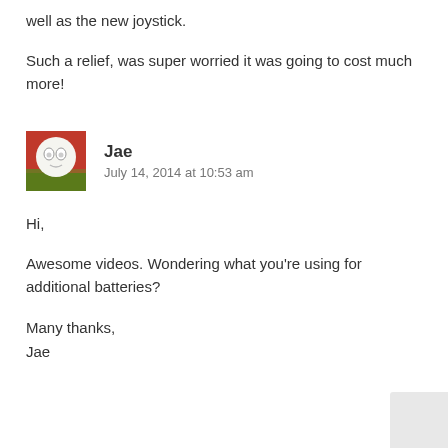well as the new joystick.
Such a relief, was super worried it was going to cost much more!
Jae
July 14, 2014 at 10:53 am
Hi,
Awesome videos. Wondering what you're using for additional batteries?
Many thanks,
Jae